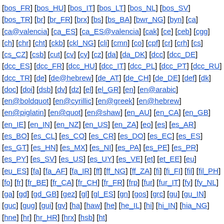[bos_FR] [bos_HU] [bos_IT] [bos_LT] [bos_NL] [bos_SV] [bos_TR] [br] [br_FR] [brx] [bs] [bs_BA] [bwr_NG] [byn] [ca] [ca@valencia] [ca_ES] [ca_ES@valencia] [cak] [ce] [ceb] [cgg] [ch] [chr] [cht] [ckb] [ckl_NG] [cli] [cmn] [co] [cpf] [cr] [crh] [cs] [cs_CZ] [csb] [cut] [cv] [cy] [cz] [da] [da_DK] [dcc] [dcc_DE] [dcc_ES] [dcc_FR] [dcc_HU] [dcc_IT] [dcc_PL] [dcc_PT] [dcc_RU] [dcc_TR] [de] [de@hebrew] [de_AT] [de_CH] [de_DE] [def] [dk] [doc] [doi] [dsb] [dv] [dz] [el] [el_GR] [en] [en@arabic] [en@boldquot] [en@cyrillic] [en@greek] [en@hebrew] [en@piglatin] [en@quot] [en@shaw] [en_AU] [en_CA] [en_GB] [en_IE] [en_IN] [en_NZ] [en_US] [en_ZA] [eo] [es] [es_AR] [es_BO] [es_CL] [es_CO] [es_CR] [es_DO] [es_EC] [es_ES] [es_GT] [es_HN] [es_MX] [es_NI] [es_PA] [es_PE] [es_PR] [es_PY] [es_SV] [es_US] [es_UY] [es_VE] [et] [et_EE] [eu] [eu_ES] [fa] [fa_AF] [fa_IR] [ff] [ff_NG] [ff_ZA] [fi] [fi_FI] [fil] [fil_PH] [fo] [fr] [fr_BE] [fr_CA] [fr_CH] [fr_FR] [frp] [fur] [fur_IT] [fy] [fy_NL] [ga] [gd] [gd_GB] [gez] [gl] [gl_ES] [gn] [gos] [grc] [gu] [gu_IN] [guc] [gug] [gui] [gv] [ha] [haw] [he] [he_IL] [hi] [hi_IN] [hia_NG] [hne] [hr] [hr_HR] [hrx] [hsb] [ht]